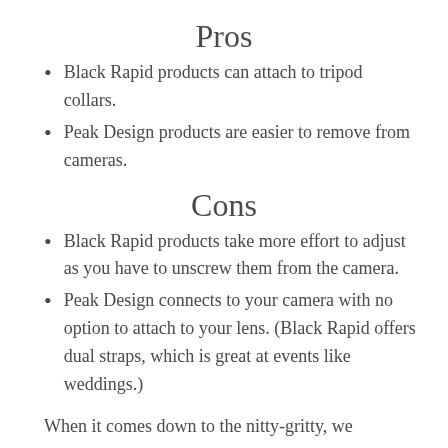Pros
Black Rapid products can attach to tripod collars.
Peak Design products are easier to remove from cameras.
Cons
Black Rapid products take more effort to adjust as you have to unscrew them from the camera.
Peak Design connects to your camera with no option to attach to your lens. (Black Rapid offers dual straps, which is great at events like weddings.)
When it comes down to the nitty-gritty, we